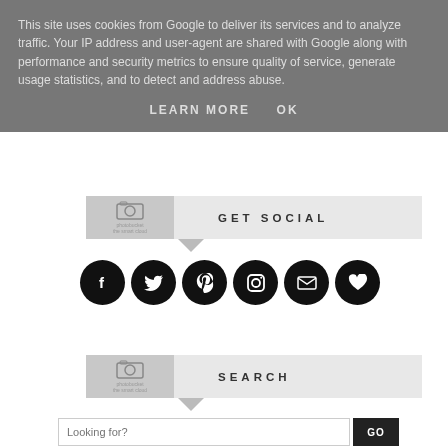This site uses cookies from Google to deliver its services and to analyze traffic. Your IP address and user-agent are shared with Google along with performance and security metrics to ensure quality of service, generate usage statistics, and to detect and address abuse.
LEARN MORE   OK
GET SOCIAL
[Figure (infographic): Six black circular social media icon buttons: Facebook, Twitter, Pinterest, Instagram, Email, and Heart/Favorites]
SEARCH
Looking for?